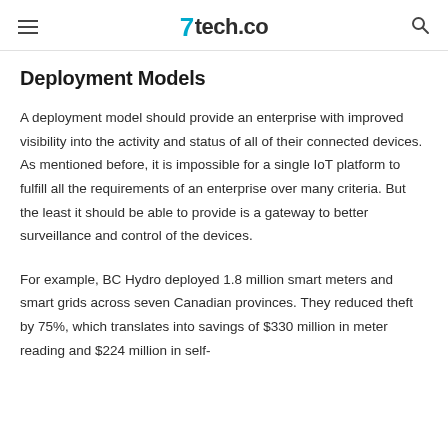tech.co
Deployment Models
A deployment model should provide an enterprise with improved visibility into the activity and status of all of their connected devices. As mentioned before, it is impossible for a single IoT platform to fulfill all the requirements of an enterprise over many criteria. But the least it should be able to provide is a gateway to better surveillance and control of the devices.
For example, BC Hydro deployed 1.8 million smart meters and smart grids across seven Canadian provinces. They reduced theft by 75%, which translates into savings of $330 million in meter reading and $224 million in self-